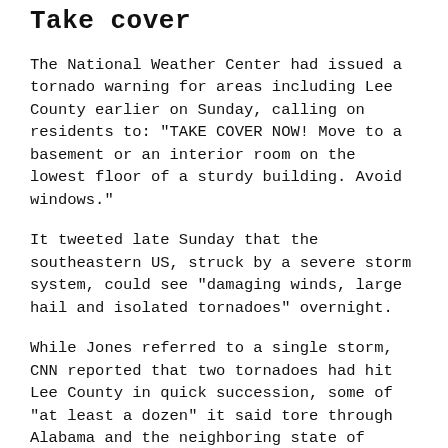Take cover
The National Weather Center had issued a tornado warning for areas including Lee County earlier on Sunday, calling on residents to: "TAKE COVER NOW! Move to a basement or an interior room on the lowest floor of a sturdy building. Avoid windows."
It tweeted late Sunday that the southeastern US, struck by a severe storm system, could see "damaging winds, large hail and isolated tornadoes" overnight.
While Jones referred to a single storm, CNN reported that two tornadoes had hit Lee County in quick succession, some of "at least a dozen" it said tore through Alabama and the neighboring state of Georgia on Sunday.
NWS Birmingham suggested that there were multiple twisters in the area, tweeting that the "first tornado to impact Lee County today was at least an EF-3 & at least